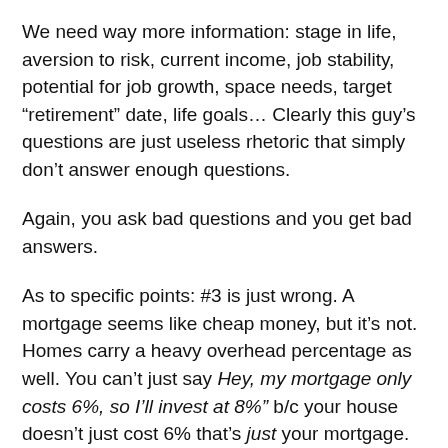We need way more information: stage in life, aversion to risk, current income, job stability, potential for job growth, space needs, target “retirement” date, life goals… Clearly this guy’s questions are just useless rhetoric that simply don’t answer enough questions.
Again, you ask bad questions and you get bad answers.
As to specific points: #3 is just wrong. A mortgage seems like cheap money, but it’s not. Homes carry a heavy overhead percentage as well. You can’t just say Hey, my mortgage only costs 6%, so I’ll invest at 8%” b/c your house doesn’t just cost 6% that’s just your mortgage.
Reason #9 is also pretty obvious: more leverage == more possibility for wealth. Duh! clearly there